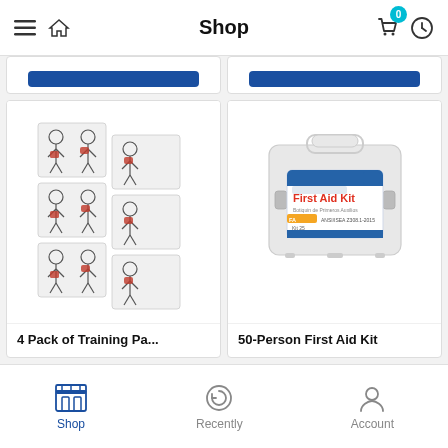Shop
[Figure (screenshot): Partial product cards visible at top of scroll - two product cards with blue Add to Cart buttons partially visible]
[Figure (photo): 4 Pack of Training Pa... - CPR training pad product showing multiple pads with body diagrams indicating electrode placement]
4 Pack of Training Pa...
[Figure (photo): 50-Person First Aid Kit - White plastic first aid kit case with red and blue label reading First Aid Kit]
50-Person First Aid Kit
Shop   Recently   Account